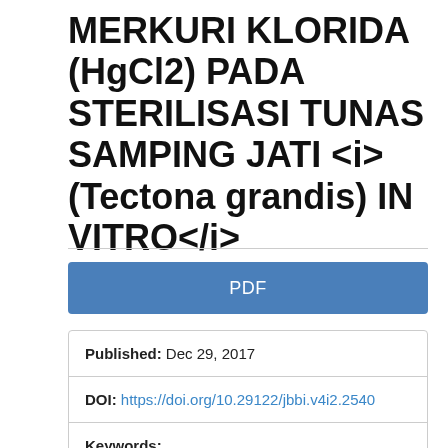MERKURI KLORIDA (HgCl2) PADA STERILISASI TUNAS SAMPING JATI <i>(Tectona grandis) IN VITRO</i>
PDF
Published: Dec 29, 2017
DOI: https://doi.org/10.29122/jbbi.v4i2.2540
Keywords: Tectona grandis sterilization HgCl2 in vitro